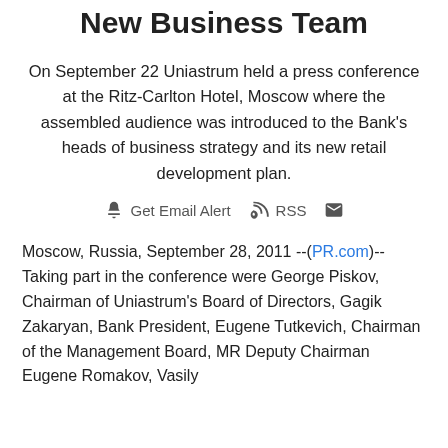New Business Team
On September 22 Uniastrum held a press conference at the Ritz-Carlton Hotel, Moscow where the assembled audience was introduced to the Bank's heads of business strategy and its new retail development plan.
Get Email Alert   RSS
Moscow, Russia, September 28, 2011 --(PR.com)-- Taking part in the conference were George Piskov, Chairman of Uniastrum's Board of Directors, Gagik Zakaryan, Bank President, Eugene Tutkevich, Chairman of the Management Board, MR Deputy Chairman Eugene Romakov, Vasily